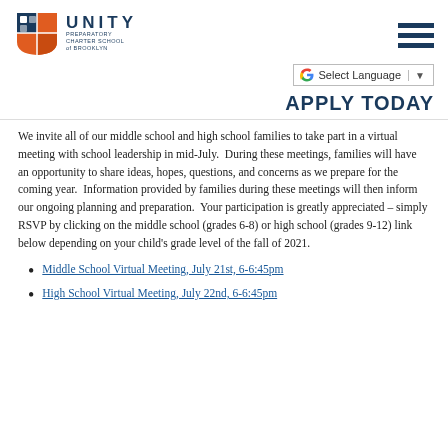[Figure (logo): Unity Preparatory Charter School of Brooklyn logo with orange/blue shield icon and UNITY text]
Select Language
APPLY TODAY
We invite all of our middle school and high school families to take part in a virtual meeting with school leadership in mid-July. During these meetings, families will have an opportunity to share ideas, hopes, questions, and concerns as we prepare for the coming year. Information provided by families during these meetings will then inform our ongoing planning and preparation. Your participation is greatly appreciated – simply RSVP by clicking on the middle school (grades 6-8) or high school (grades 9-12) link below depending on your child's grade level of the fall of 2021.
Middle School Virtual Meeting, July 21st, 6-6:45pm
High School Virtual Meeting, July 22nd, 6-6:45pm